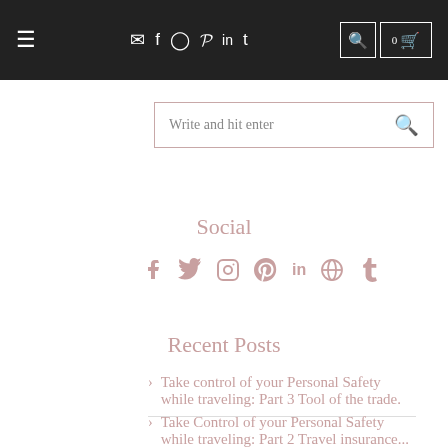≡  ✉ f ⊙ ℘ in t  🔍  0 🛍
Write and hit enter
Social
Social icons: Facebook, Twitter, Instagram, Pinterest, LinkedIn, WordPress, Tumblr
Recent Posts
> Take control of your Personal Safety while traveling: Part 3 Tool of the trade.
> Take Control of your Personal Safety while traveling: Part 2 Travel insurance... is it worth it?